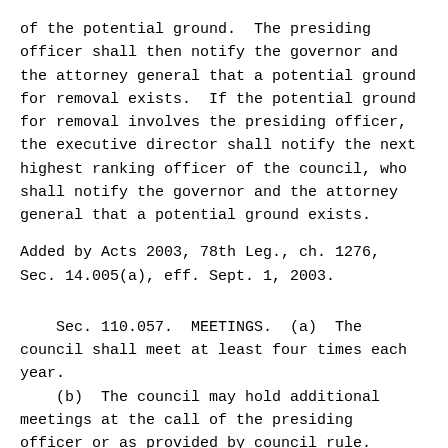of the potential ground.  The presiding officer shall then notify the governor and the attorney general that a potential ground for removal exists.  If the potential ground for removal involves the presiding officer, the executive director shall notify the next highest ranking officer of the council, who shall notify the governor and the attorney general that a potential ground exists.
Added by Acts 2003, 78th Leg., ch. 1276, Sec. 14.005(a), eff. Sept. 1, 2003.
Sec. 110.057.  MEETINGS.  (a)  The council shall meet at least four times each year.
(b)  The council may hold additional meetings at the call of the presiding officer or as provided by council rule.